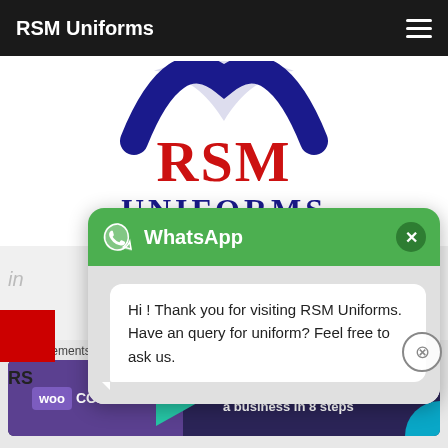RSM Uniforms
[Figure (logo): RSM Uniforms logo with dark blue arch shape on top, red RSM text and dark blue UNIFORMS text]
[Figure (screenshot): WhatsApp chat popup with green header showing WhatsApp icon and title, white message bubble saying: Hi ! Thank you for visiting RSM Uniforms. Have an query for uniform? Feel free to ask us.]
Advertisements
[Figure (infographic): WooCommerce advertisement banner: Turn your hobby into a business in 8 steps]